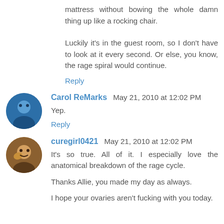mattress without bowing the whole damn thing up like a rocking chair.
Luckily it's in the guest room, so I don't have to look at it every second. Or else, you know, the rage spiral would continue.
Reply
Carol ReMarks May 21, 2010 at 12:02 PM
Yep.
Reply
curegirl0421 May 21, 2010 at 12:02 PM
It's so true. All of it. I especially love the anatomical breakdown of the rage cycle.
Thanks Allie, you made my day as always.
I hope your ovaries aren't fucking with you today.